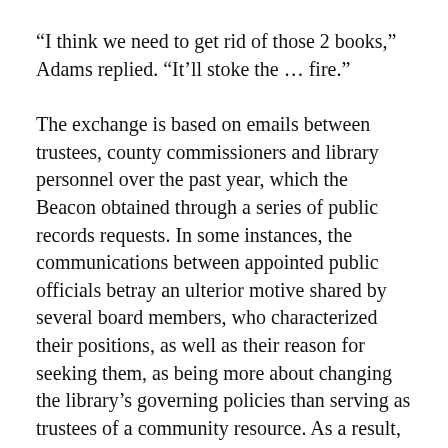“I think we need to get rid of those 2 books,” Adams replied. “It’ll stoke the … fire.”
The exchange is based on emails between trustees, county commissioners and library personnel over the past year, which the Beacon obtained through a series of public records requests. In some instances, the communications between appointed public officials betray an ulterior motive shared by several board members, who characterized their positions, as well as their reason for seeking them, as being more about changing the library’s governing policies than serving as trustees of a community resource. As a result, morale has plummeted within the public library’s leadership ranks as ImagineIF struggles to recruit and retain a qualified director, having lost both its previous director and interim director to